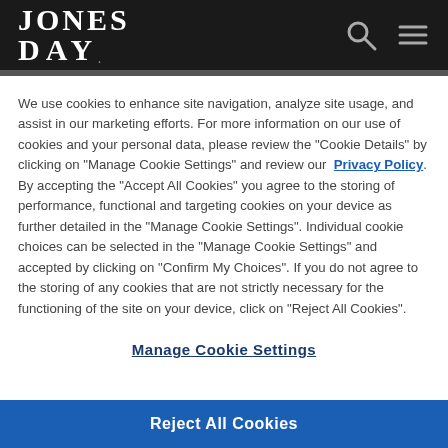[Figure (logo): Jones Day law firm logo — white text on dark background, serif font, with search and menu icons on the right]
We use cookies to enhance site navigation, analyze site usage, and assist in our marketing efforts. For more information on our use of cookies and your personal data, please review the "Cookie Details" by clicking on "Manage Cookie Settings" and review our Privacy Policy. By accepting the "Accept All Cookies" you agree to the storing of performance, functional and targeting cookies on your device as further detailed in the "Manage Cookie Settings". Individual cookie choices can be selected in the "Manage Cookie Settings" and accepted by clicking on "Confirm My Choices". If you do not agree to the storing of any cookies that are not strictly necessary for the functioning of the site on your device, click on "Reject All Cookies".
Manage Cookie Settings
Reject All Cookies